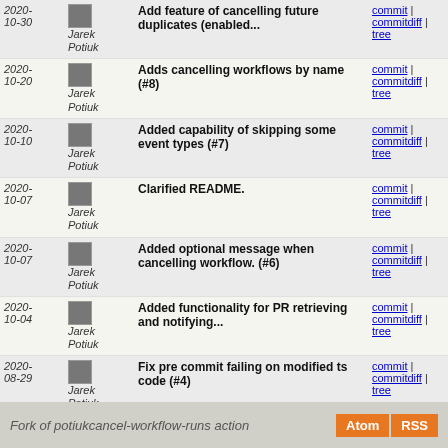| Date | Author | Message | Links |
| --- | --- | --- | --- |
| 2020-10-30 | Jarek Potiuk | Add feature of cancelling future duplicates (enabled... | commit | commitdiff | tree |
| 2020-10-20 | Jarek Potiuk | Adds cancelling workflows by name (#8) | commit | commitdiff | tree |
| 2020-10-10 | Jarek Potiuk | Added capability of skipping some event types (#7) | commit | commitdiff | tree |
| 2020-10-07 | Jarek Potiuk | Clarified README. | commit | commitdiff | tree |
| 2020-10-07 | Jarek Potiuk | Added optional message when cancelling workflow. (#6) | commit | commitdiff | tree |
| 2020-10-04 | Jarek Potiuk | Added functionality for PR retrieving and notifying... | commit | commitdiff | tree |
| 2020-08-29 | Jarek Potiuk | Fix pre commit failing on modified ts code (#4) | commit | commitdiff | tree |
| 2020-08-29 | Jarek Potiuk | Merge pull request #2 from TobKed/Fix-example | commit | commitdiff | tree |
| 2020-08-17 | Jarek Potiuk | Move to workflow_run triggered cancelling | commit | commitdiff | tree |
| 2020-07-26 | Jarek Potiuk | Fixed docs | commit | commitdiff | tree |
| 2020-07-26 | Jarek Potiuk | Adds cancelling of latest job when certain jobs failed | commit | commitdiff | tree |
Fork of potiukcancel-workflow-runs action